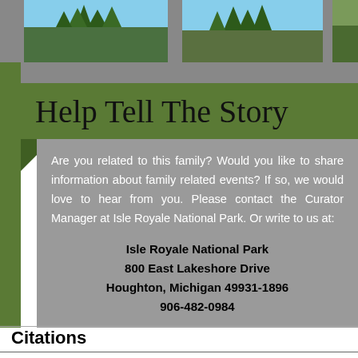[Figure (photo): Top banner with three nature/forest photos showing pine trees against blue sky]
Help Tell The Story
Are you related to this family? Would you like to share information about family related events? If so, we would love to hear from you. Please contact the Curator Manager at Isle Royale National Park. Or write to us at:
Isle Royale National Park
800 East Lakeshore Drive
Houghton, Michigan 49931-1896
906-482-0984
Citations
1. Franks, Kathryn E. and Arnold R. Alanen, 1999. Historic Structures at Is...